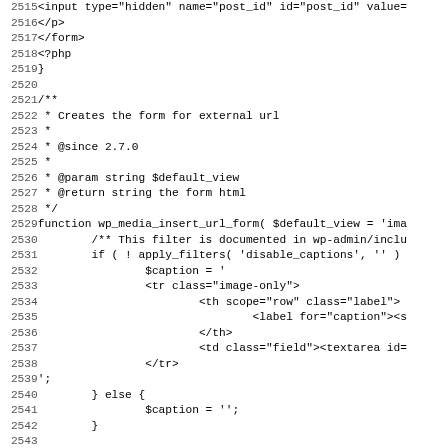Code listing lines 2515-2547, PHP/HTML source code showing wp_media_insert_url_form function